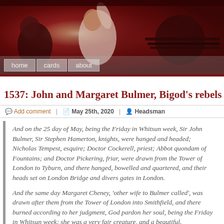[Figure (photo): Header image: dark reddish painting of historical scene with figures, one with raised arms in white garment. Navigation bar overlaid at bottom with 'home', 'cards', 'about' buttons.]
1537: John and Margaret Bulmer, Bigod’s rebels
Add comment | May 25th, 2020 | Headsman
And on the 25 day of May, being the Friday in Whitsun week, Sir John Bulmer, Sir Stephen Hamerton, knights, were hanged and headed; Nicholas Tempest, esquire; Doctor Cockerell, priest; Abbot quondam of Fountains; and Doctor Pickering, friar, were drawn from the Tower of London to Tyburn, and there hanged, bowelled and quartered, and their heads set on London Bridge and divers gates in London.
And the same day Margaret Cheney, ‘other wife to Bulmer called’, was drawn after them from the Tower of London into Smithfield, and there burned according to her judgment, God pardon her soul, being the Friday in Whitsun week; she was a very fair creature, and a beautiful.
–Wriothesley’s Chronicle